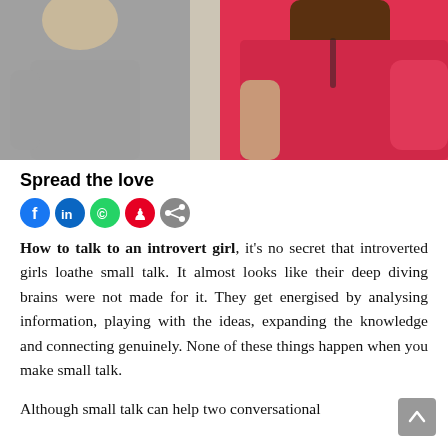[Figure (photo): Two people walking outdoors – a person in a gray shirt on the left and a woman in a bright red/pink shirt on the right, cropped to torso/shoulder level]
Spread the love
[Figure (infographic): Social share icons: Facebook (blue), LinkedIn (blue), WhatsApp (green), Pinterest (red), Share (gray)]
How to talk to an introvert girl, it's no secret that introverted girls loathe small talk. It almost looks like their deep diving brains were not made for it. They get energised by analysing information, playing with the ideas, expanding the knowledge and connecting genuinely. None of these things happen when you make small talk.
Although small talk can help two conversational